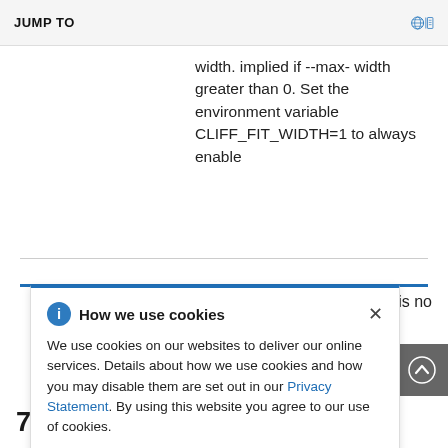JUMP TO
width. implied if --max- width greater than 0. Set the environment variable CLIFF_FIT_WIDTH=1 to always enable
ere is no
[Figure (other): Cookie consent popup dialog with title 'How we use cookies', info icon, close button, body text about cookie usage and a Privacy Statement link.]
70.20. stack snapshot delete